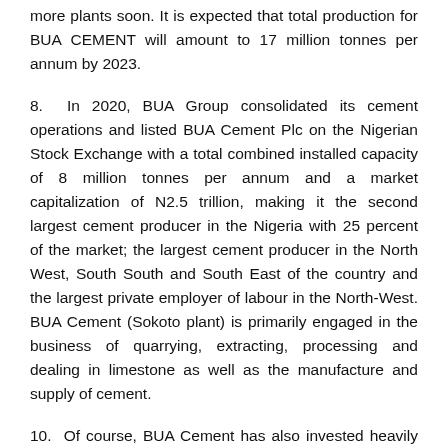more plants soon. It is expected that total production for BUA CEMENT will amount to 17 million tonnes per annum by 2023.
8. In 2020, BUA Group consolidated its cement operations and listed BUA Cement Plc on the Nigerian Stock Exchange with a total combined installed capacity of 8 million tonnes per annum and a market capitalization of N2.5 trillion, making it the second largest cement producer in the Nigeria with 25 percent of the market; the largest cement producer in the North West, South South and South East of the country and the largest private employer of labour in the North-West. BUA Cement (Sokoto plant) is primarily engaged in the business of quarrying, extracting, processing and dealing in limestone as well as the manufacture and supply of cement.
10. Of course, BUA Cement has also invested heavily in Corporate Social Responsibility. The company is involved in